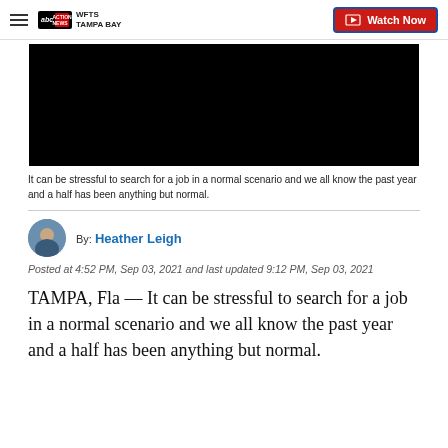WFTS TAMPA BAY | Watch Now
[Figure (screenshot): Black video player thumbnail]
It can be stressful to search for a job in a normal scenario and we all know the past year and a half has been anything but normal.
By: Heather Leigh
Posted at 4:52 PM, Sep 03, 2021 and last updated 9:12 PM, Sep 03, 2021
TAMPA, Fla — It can be stressful to search for a job in a normal scenario and we all know the past year and a half has been anything but normal.